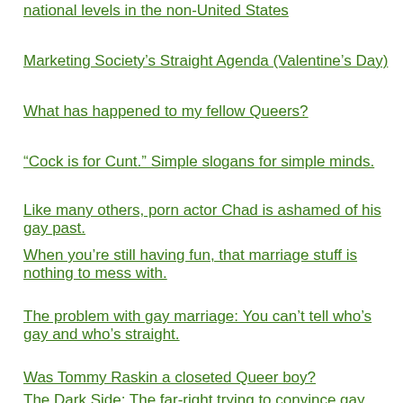national levels in the non-United States
Marketing Society's Straight Agenda (Valentine's Day)
What has happened to my fellow Queers?
“Cock is for Cunt.” Simple slogans for simple minds.
Like many others, porn actor Chad is ashamed of his gay past.
When you’re still having fun, that marriage stuff is nothing to mess with.
The problem with gay marriage: You can’t tell who’s gay and who’s straight.
Was Tommy Raskin a closeted Queer boy?
The Dark Side: The far-right trying to convince gay guys to try